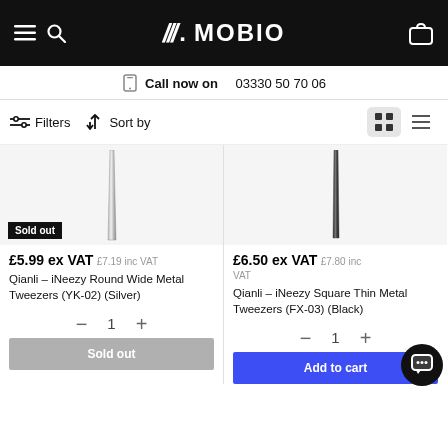MOBIO — Call now on 03330 50 70 06
Filters  Sort by
[Figure (photo): Product image of Qianli iNeezy Round Wide Metal Tweezers (YK-02) Silver — partially cropped, showing pointed metal tweezers on white background. Sold out badge overlay.]
£5.99 ex VAT  £7.19 inc VAT
Qianli – iNeezy Round Wide Metal Tweezers (YK-02) (Silver)
- 1 +
Sold out
[Figure (photo): Product image of Qianli iNeezy Square Thin Metal Tweezers (FX-03) Black — partially cropped, showing pointed black metal tweezers on white background.]
£6.50 ex VAT  £7.80 inc VAT
Qianli – iNeezy Square Thin Metal Tweezers (FX-03) (Black)
- 1 +
Add to cart